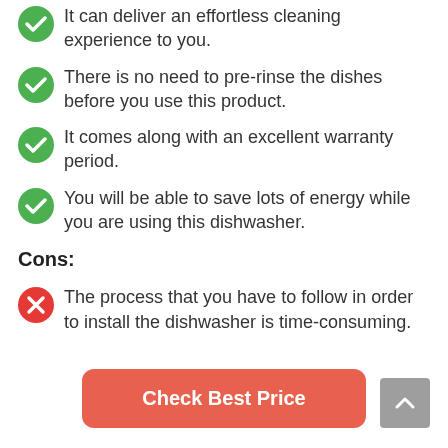It can deliver an effortless cleaning experience to you.
There is no need to pre-rinse the dishes before you use this product.
It comes along with an excellent warranty period.
You will be able to save lots of energy while you are using this dishwasher.
Cons:
The process that you have to follow in order to install the dishwasher is time-consuming.
Check Best Price